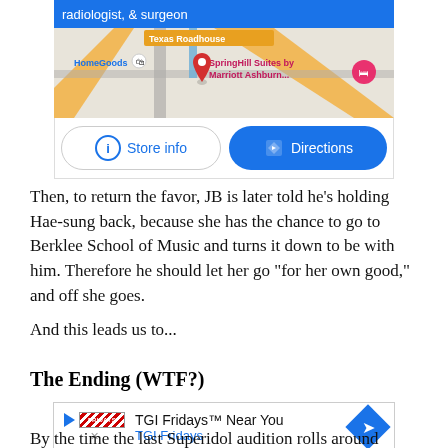[Figure (screenshot): Google Maps screenshot showing a store location near Ashburn with HomeGoods and SpringHill Suites by Marriott Ashburn visible, with Store info and Directions buttons below the map.]
Then, to return the favor, JB is later told he’s holding Hae-sung back, because she has the chance to go to Berklee School of Music and turns it down to be with him. Therefore he should let her go “for her own good,” and off she goes.
And this leads us to...
The Ending (WTF?)
[Figure (screenshot): TGI Fridays advertisement: TGI Fridays Near You with a directions diamond icon on the right.]
By the time the last Superidol audition rolls around